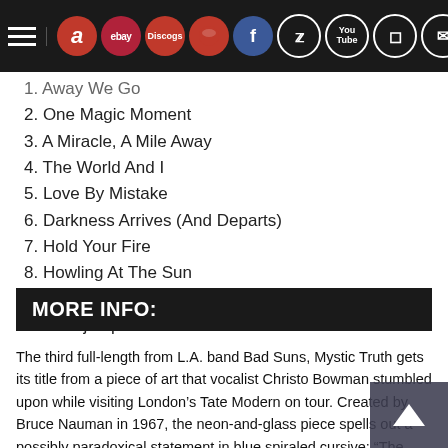Navigation bar with hamburger menu, Amazon, eBay, Discogs, social media icons (Facebook, Twitter, YouTube, Instagram, Mail)
1. Away We Go
2. One Magic Moment
3. A Miracle, A Mile Away
4. The World And I
5. Love By Mistake
6. Darkness Arrives (And Departs)
7. Hold Your Fire
8. Howling At The Sun
9. Separate Seas
10. Starjumper
MORE INFO:
The third full-length from L.A. band Bad Suns, Mystic Truth gets its title from a piece of art that vocalist Christo Bowman stumbled upon while visiting London’s Tate Modern on tour. Created by Bruce Nauman in 1967, the neon-and-glass piece spells out a possibly paradoxical statement in blue spiraled cursive: “The True Artist Helps the World by Revealing Mystic Truths.” “I thought that sounded kind to the core sense of the record, which...